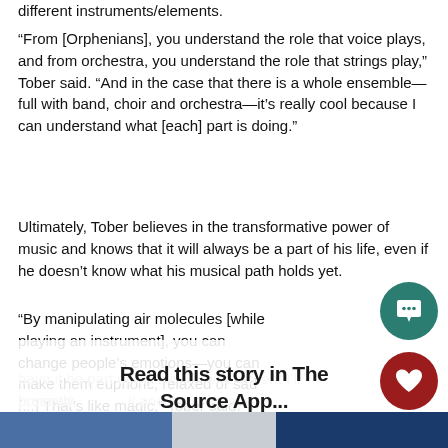different instruments/elements.
“From [Orphenians], you understand the role that voice plays, and from orchestra, you understand the role that strings play,” Tober said. “And in the case that there is a whole ensemble— full with band, choir and orchestra—it’s really cool because I can understand what [each] part is doing.”
Ultimately, Tober believes in the transformative power of music and knows that it will always be a part of his life, even if he doesn’t know what his musical path holds yet.
“By manipulating air molecules [while playing an instrument], you can change people’s emotions—you can make them euphoric, relaxed or sad [...] That’s like magic,” Tober said. “I just enjoy [music] too much to not always have it be part of my life. To what extent I’ll proceed, honestly I don’t know, I just enjoy it and it will always be something I can do whenever, wherever.”
Read this story in The Source App...